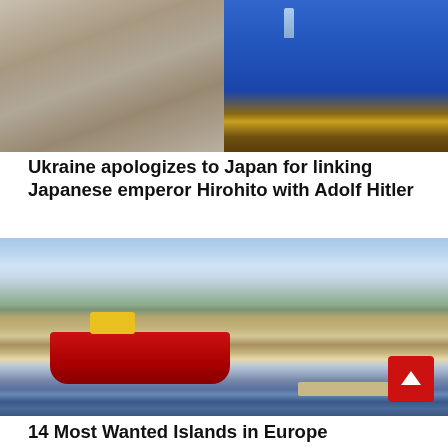[Figure (photo): Split image: left side shows a person in a beige/grey jacket, right side shows a speaker at a podium with a water bottle visible]
Ukraine apologizes to Japan for linking Japanese emperor Hirohito with Adolf Hitler
[Figure (photo): A scenic harbor view of a Mediterranean island (Hydra, Greece) with white-washed buildings on a hillside, a large red barge/boat in the foreground, and a stone pier/dock on the right]
14 Most Wanted Islands in Europe